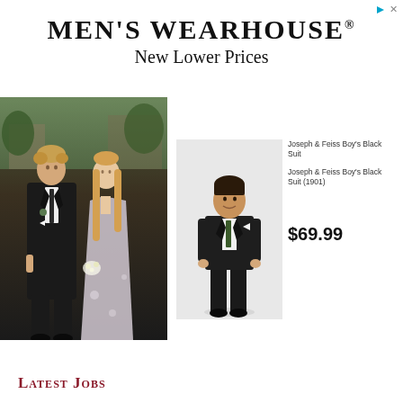[Figure (logo): Ad icon with triangle play button and X close button in top right corner]
MEN'S WEARHOUSE®
New Lower Prices
[Figure (photo): Couple at an outdoor wedding venue; man in dark black suit with tie and white shirt, woman in silver/white halter gown, standing together outdoors with trees and building in background]
[Figure (photo): Product photo of a boy wearing a Joseph & Feiss Boy's Black Suit on white background, standing full length]
Joseph & Feiss Boy's Black Suit
Joseph & Feiss Boy's Black Suit (1901)
$69.99
Latest Jobs